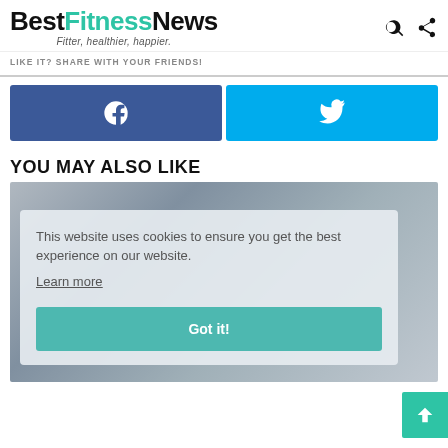BestFitnessNews — Fitter, healthier, happier.
LIKE IT? SHARE WITH YOUR FRIENDS!
[Figure (other): Facebook share button (blue) and Twitter share button (cyan) side by side]
YOU MAY ALSO LIKE
[Figure (photo): Street running/fitness photo with cookie consent overlay. Overlay text: 'This website uses cookies to ensure you get the best experience on our website. Learn more' with a 'Got it!' button.]
This website uses cookies to ensure you get the best experience on our website. Learn more Got it!